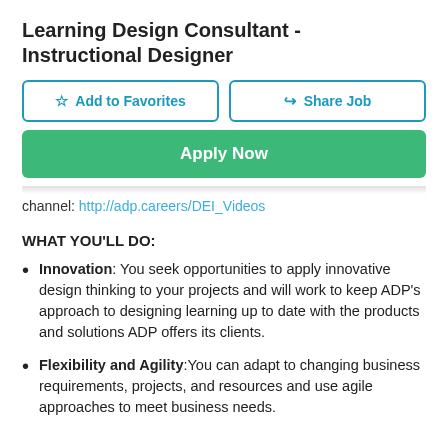Learning Design Consultant - Instructional Designer
channel: http://adp.careers/DEI_Videos
WHAT YOU'LL DO:
Innovation: You seek opportunities to apply innovative design thinking to your projects and will work to keep ADP's approach to designing learning up to date with the products and solutions ADP offers its clients.
Flexibility and Agility:You can adapt to changing business requirements, projects, and resources and use agile approaches to meet business needs.